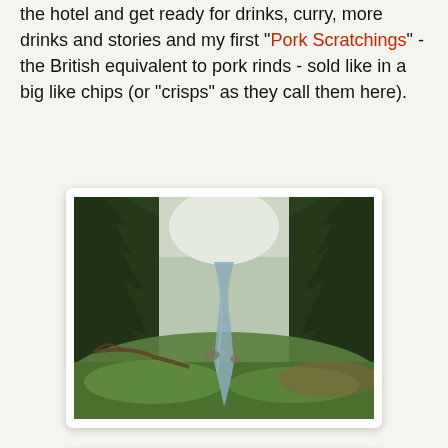the hotel and get ready for drinks, curry, more drinks and stories and my first "Pork Scratchings" - the British equivalent to pork rinds - sold like in a big like chips (or "crisps" as they call them here).
[Figure (photo): A forest scene with tall conifer trees lining both sides of a small stream running through green grassy ground. The stream winds through the middle of the scene with overcast sky visible above.]
[Figure (photo): A dense green forest scene with lush deciduous trees and shrubs, a small stream or path visible at the bottom, with rocky cliff or wall visible on the right side.]